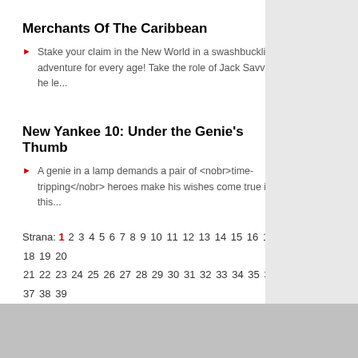Merchants Of The Caribbean
Stake your claim in the New World in a swashbuckling adventure for every age! Take the role of Jack Savvy as he le...
New Yankee 10: Under the Genie's Thumb
A genie in a lamp demands a pair of <nobr>time-tripping</nobr> heroes make his wishes come true in this...
Strana: 1 2 3 4 5 6 7 8 9 10 11 12 13 14 15 16 17 18 19 20 21 22 23 24 25 26 27 28 29 30 31 32 33 34 35 36 37 38 39 40 41 42 43 44 45 46 47 48